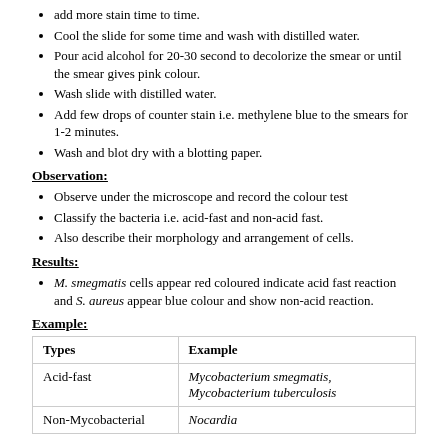add more stain time to time.
Cool the slide for some time and wash with distilled water.
Pour acid alcohol for 20-30 second to decolorize the smear or until the smear gives pink colour.
Wash slide with distilled water.
Add few drops of counter stain i.e. methylene blue to the smears for 1-2 minutes.
Wash and blot dry with a blotting paper.
Observation:
Observe under the microscope and record the colour test
Classify the bacteria i.e. acid-fast and non-acid fast.
Also describe their morphology and arrangement of cells.
Results:
M. smegmatis cells appear red coloured indicate acid fast reaction and S. aureus appear blue colour and show non-acid reaction.
Example:
| Types | Example |
| --- | --- |
| Acid-fast | Mycobacterium smegmatis, Mycobacterium tuberculosis |
| Non-Mycobacterial | Nocardia |